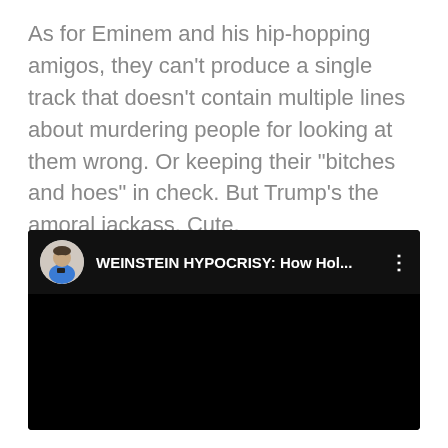As for Eminem and his hip-hopping amigos, they can't produce a single track that doesn't contain multiple lines about murdering people for looking at them wrong. Or keeping their "bitches and hoes" in check. But Trump's the amoral jackass. Cute.
[Figure (screenshot): Embedded YouTube video preview with dark background, showing a circular avatar of a man in a blue shirt, and the title 'WEINSTEIN HYPOCRISY: How Hol...' with a three-dot menu icon on the right. The main video area is black.]